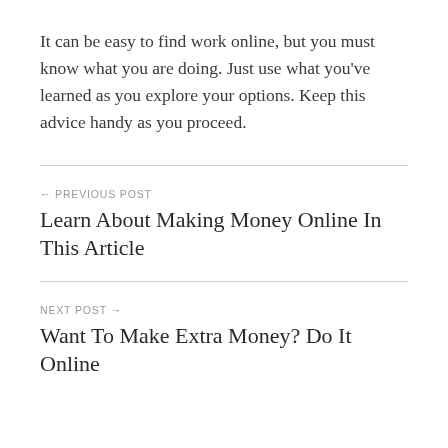It can be easy to find work online, but you must know what you are doing. Just use what you've learned as you explore your options. Keep this advice handy as you proceed.
← PREVIOUS POST
Learn About Making Money Online In This Article
NEXT POST →
Want To Make Extra Money? Do It Online